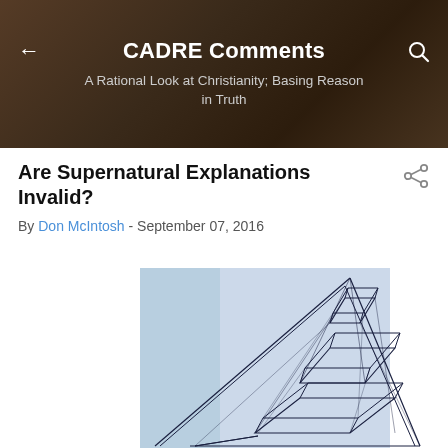CADRE Comments
A Rational Look at Christianity; Basing Reason in Truth
Are Supernatural Explanations Invalid?
By Don McIntosh - September 07, 2016
[Figure (illustration): Geometric wireframe pyramid/crystal structure drawn in dark lines on a light blue background]